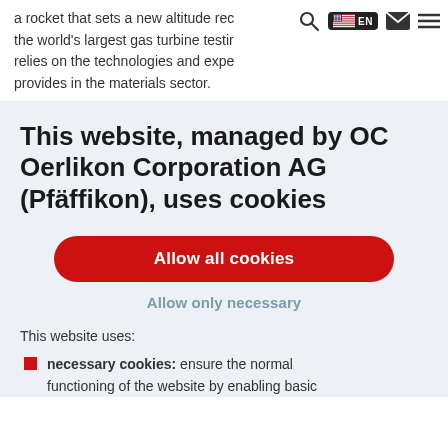a rocket that sets a new altitude rec the world's largest gas turbine testir relies on the technologies and expe provides in the materials sector.
This website, managed by OC Oerlikon Corporation AG (Pfäffikon), uses cookies
Allow all cookies
Allow only necessary
This website uses:
necessary cookies: ensure the normal functioning of the website by enabling basic